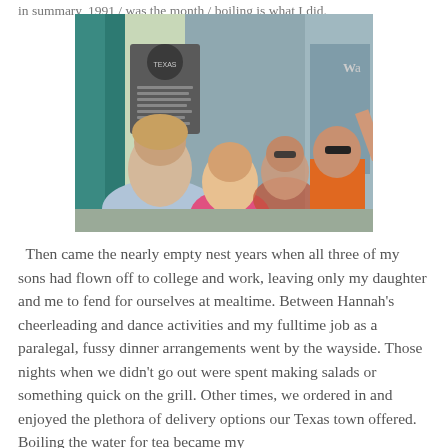in summary, 1991 / was the month / boiling is what I did.
[Figure (photo): Group photo of four people (three young adults and one person in orange polo shirt standing) posing outside a building with a Texas historical marker plaque on the wall.]
Then came the nearly empty nest years when all three of my sons had flown off to college and work, leaving only my daughter and me to fend for ourselves at mealtime. Between Hannah's cheerleading and dance activities and my fulltime job as a paralegal, fussy dinner arrangements went by the wayside. Those nights when we didn't go out were spent making salads or something quick on the grill. Other times, we ordered in and enjoyed the plethora of delivery options our Texas town offered. Boiling the water for tea became my big culinary contribution of the day.